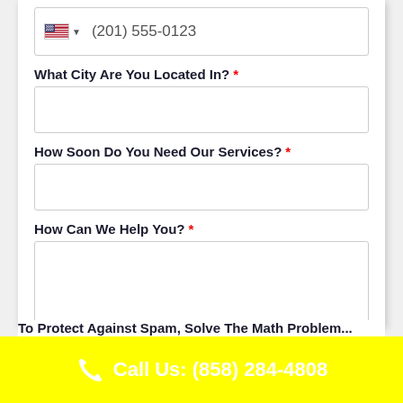(201) 555-0123
What City Are You Located In? *
How Soon Do You Need Our Services? *
How Can We Help You? *
Call Us: (858) 284-4808